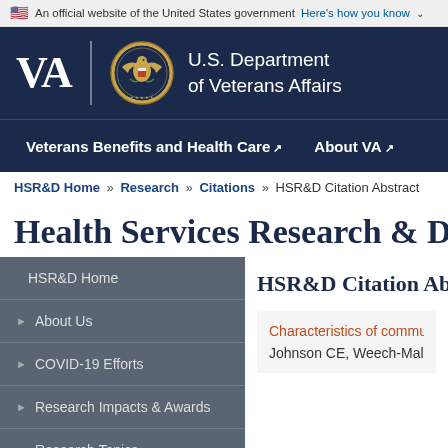An official website of the United States government Here's how you know
[Figure (logo): U.S. Department of Veterans Affairs logo with VA text, eagle seal, and department name on dark navy background]
Veterans Benefits and Health Care  About VA
HSR&D Home » Research » Citations » HSR&D Citation Abstract
Health Services Research & Deve
HSR&D Home
About Us
COVID-19 Efforts
Research Impacts & Awards
Research Topics
Career Development Program
Centers and Research Networks
HSR&D Citation Abstra
Characteristics of community
Johnson CE, Weech-Maldon